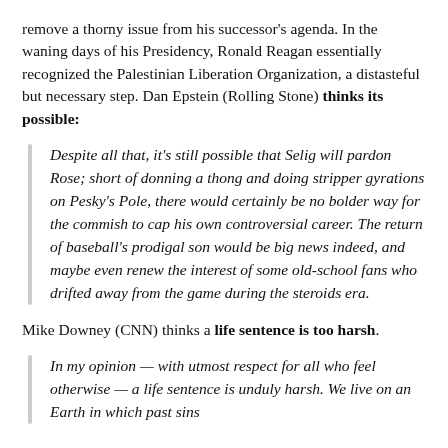remove a thorny issue from his successor's agenda. In the waning days of his Presidency, Ronald Reagan essentially recognized the Palestinian Liberation Organization, a distasteful but necessary step. Dan Epstein (Rolling Stone) thinks its possible:
Despite all that, it's still possible that Selig will pardon Rose; short of donning a thong and doing stripper gyrations on Pesky's Pole, there would certainly be no bolder way for the commish to cap his own controversial career. The return of baseball's prodigal son would be big news indeed, and maybe even renew the interest of some old-school fans who drifted away from the game during the steroids era.
Mike Downey (CNN) thinks a life sentence is too harsh.
In my opinion — with utmost respect for all who feel otherwise — a life sentence is unduly harsh. We live on an Earth in which past sins